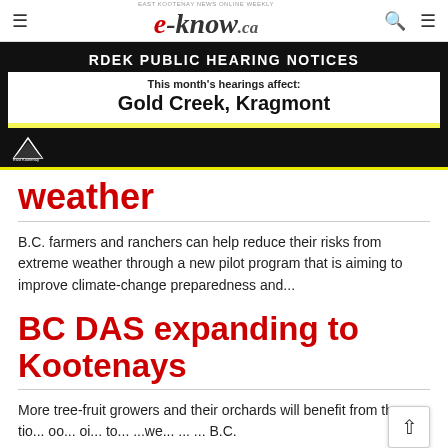e-know.ca — East Kootenay news online weekly
[Figure (infographic): RDEK Public Hearing Notices banner ad. Black background with white bold text 'RDEK PUBLIC HEARING NOTICES'. White box below with text 'This month's hearings affect: Gold Creek, Kragmont'. Yellow strip below white box. RDEK / East Kootenay logo bottom left.]
weather
B.C. farmers and ranchers can help reduce their risks from extreme weather through a new pilot program that is aiming to improve climate-change preparedness and...
BC DAS expanding to Kootenays
More tree-fruit growers and their orchards will benefit from the compo siti...